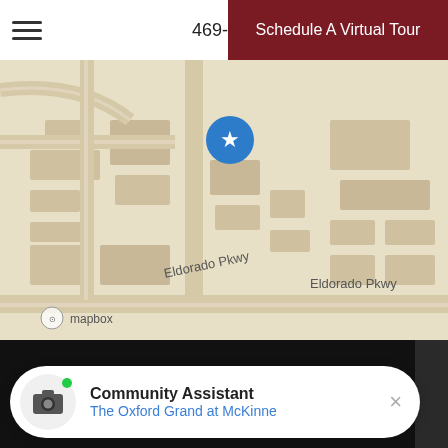469-634-0779  Schedule A Virtual Tour
[Figure (map): Mapbox street map showing Eldorado Pkwy area with a blue star marker pinning a location. Streets and building footprints visible. Mapbox logo and compass icon in lower left.]
This site uses cookies. See our Privacy Policy to learn more.
Community Assistant
The Oxford Grand at McKinne